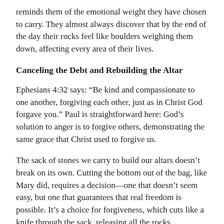reminds them of the emotional weight they have chosen to carry. They almost always discover that by the end of the day their rocks feel like boulders weighing them down, affecting every area of their lives.
Canceling the Debt and Rebuilding the Altar
Ephesians 4:32 says: “Be kind and compassionate to one another, forgiving each other, just as in Christ God forgave you.” Paul is straightforward here: God’s solution to anger is to forgive others, demonstrating the same grace that Christ used to forgive us.
The sack of stones we carry to build our altars doesn’t break on its own. Cutting the bottom out of the bag, like Mary did, requires a decision—one that doesn’t seem easy, but one that guarantees that real freedom is possible. It’s a choice for forgiveness, which cuts like a knife through the sack, releasing all the rocks